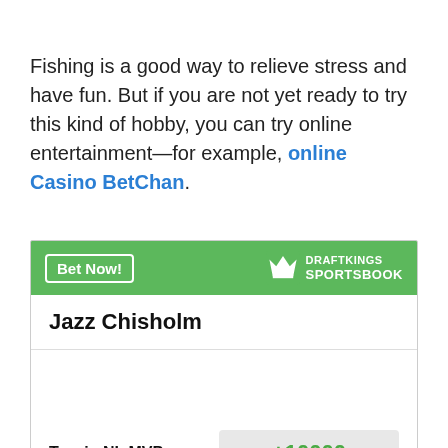Fishing is a good way to relieve stress and have fun. But if you are not yet ready to try this kind of hobby, you can try online entertainment—for example, online Casino BetChan.
[Figure (other): DraftKings Sportsbook betting widget showing Jazz Chisholm with odds +10000 to win NL MVP, with a green header containing a 'Bet Now!' button and the DraftKings Sportsbook logo.]